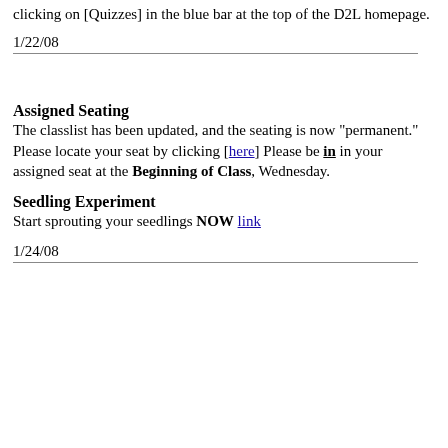clicking on [Quizzes] in the blue bar at the top of the D2L homepage.
1/22/08
Assigned Seating
The classlist has been updated, and the seating is now "permanent." Please locate your seat by clicking [here] Please be in in your assigned seat at the Beginning of Class, Wednesday.
Seedling Experiment
Start sprouting your seedlings NOW link
1/24/08